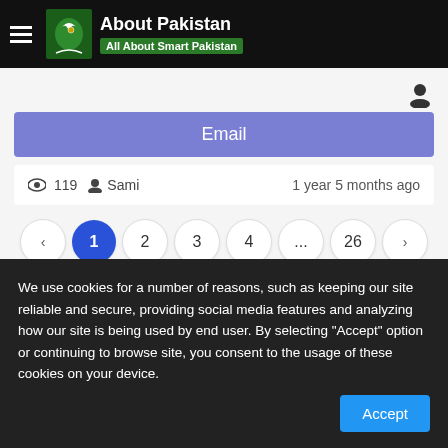About Pakistan – All About Smart Pakistan
119  Sami   1 year 5 months ago
Email
‹ 1 2 3 4 ... 26 ›
We use cookies for a number of reasons, such as keeping our site reliable and secure, providing social media features and analyzing how our site is being used by end user. By selecting "Accept" option or continuing to browse site, you consent to the usage of these cookies on your device.
Accept